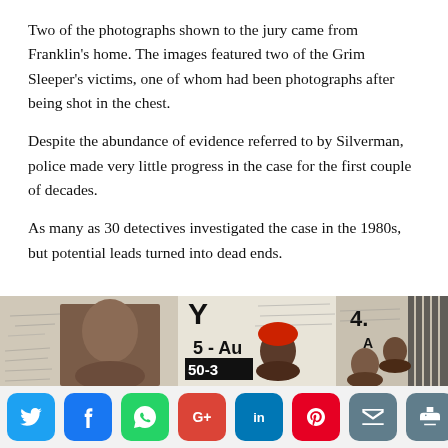Two of the photographs shown to the jury came from Franklin's home. The images featured two of the Grim Sleeper's victims, one of whom had been photographs after being shot in the chest.
Despite the abundance of evidence referred to by Silverman, police made very little progress in the case for the first couple of decades.
As many as 30 detectives investigated the case in the 1980s, but potential leads turned into dead ends.
[Figure (photo): Photo collage showing victim photographs and memorial/protest signs. Includes a photo labeled DEBRA JACKSON and other victim photos with signs showing numbers like '5-Au', '50-3', '4.']